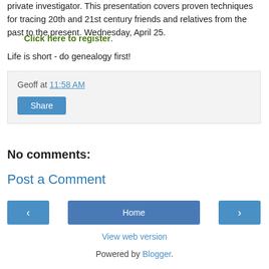private investigator. This presentation covers proven techniques for tracing 20th and 21st century friends and relatives from the past to the present. Wednesday, April 25.
Click here to register.
Life is short - do genealogy first!
Geoff at 11:58 AM
Share
No comments:
Post a Comment
‹  Home  ›
View web version
Powered by Blogger.